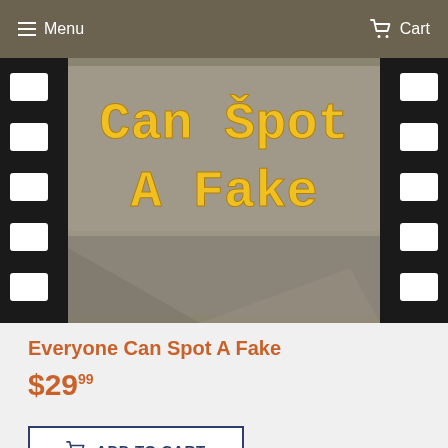Menu  Cart
[Figure (photo): Film strip image with text 'Can Špot A Fake' in yellow typewriter-style font on a grey background, with black film strip borders showing white perforations on both sides.]
Everyone Can Spot A Fake
$29.99
ADD TO CART